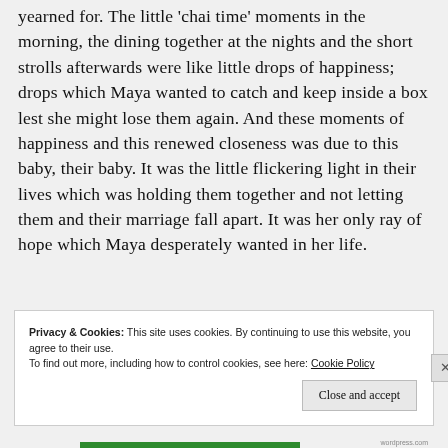yearned for. The little 'chai time' moments in the morning, the dining together at the nights and the short strolls afterwards were like little drops of happiness; drops which Maya wanted to catch and keep inside a box lest she might lose them again. And these moments of happiness and this renewed closeness was due to this baby, their baby. It was the little flickering light in their lives which was holding them together and not letting them and their marriage fall apart. It was her only ray of hope which Maya desperately wanted in her life.
Privacy & Cookies: This site uses cookies. By continuing to use this website, you agree to their use. To find out more, including how to control cookies, see here: Cookie Policy
Close and accept